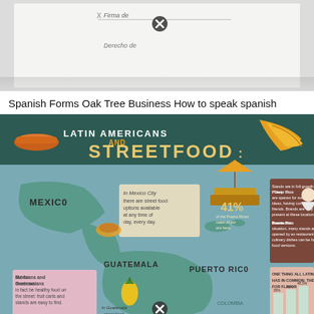[Figure (photo): Photo of a Spanish form/document on a table, with a cancel icon overlaid. Text visible: 'Firma de', 'Derecho de' in Spanish cursive/italic.]
Spanish Forms Oak Tree Business How to speak spanish
[Figure (infographic): Latin Americans and Street Food infographic showing a map of Latin America highlighting Mexico, Guatemala, and Puerto Rico with food-related statistics and illustrations. Key facts: Mexico City has street food options available at any time of day, every day. For Mexicans and Guatemalans there can in fact be healthy food on the street: fruit carts and stands are easy to find. 41% of the Puerto Rican sales of our are here. Stands are in full growth in Puerto Rico. They are spaces for social interaction, exchanging ideas, having conversations and making friends. Brands are very much present at these locations. Due to Puerto Rico's economic situation, many stands are being opened by ex restaurant owners. High culinary dishes can be found in street food versions. One thing all Latin America has in common: the search for flavor. 35%, 38%, 48.5%. In Guatemala, street food vendors offer add-ons for the...]